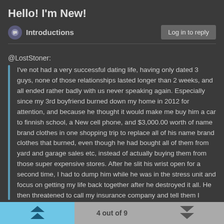Hello! I'm New!
Introductions
@LostStoner:
I've not had a very successful dating life, having only dated 3 guys, none of those relationships lasted longer than 2 weeks, and all ended rather badly with us never speaking again. Especially since my 3rd boyfriend burned down my home in 2012 for attention, and because he thought it would make me buy him a car to finnish school, a New cell phone, and $3,000.00 worth of name brand clothes in one shopping trip to replace all of his name brand clothes that burned, even though he had bought all of them from yard and garage sales etc, instead of actually buying them from those super expensive stores. After he slit his wrist open for a second time, I had to dump him while he was in the stress unit and focus on getting my life back together after he destroyed it all. He then threatened to call my insurance company and tell them I burned my own home down, just to get the insurance money. That coupled with the fact that he told me he had burned his dad's house that he lived with him in down because his dad wasnt paying enough attention to him made me suspect that it
4 out of 9